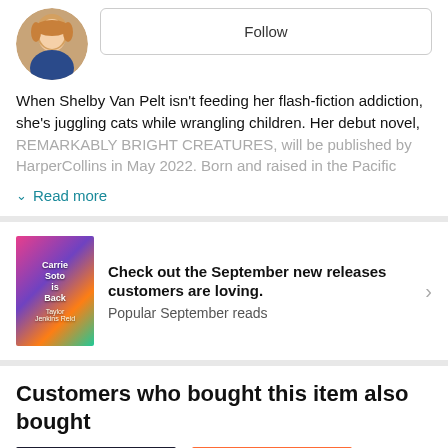[Figure (photo): Circular author photo of a woman with blonde hair]
Follow
When Shelby Van Pelt isn't feeding her flash-fiction addiction, she's juggling cats while wrangling children. Her debut novel, REMARKABLY BRIGHT CREATURES, will be published by HarperCollins in May 2022. Born and raised in the Pacific
Read more
[Figure (photo): Book cover: Carrie Soto is Back by Taylor Jenkins Reid]
Check out the September new releases customers are loving.
Popular September reads
Customers who bought this item also bought
[Figure (photo): Book cover: The Fallback (dark cover with white text)]
[Figure (photo): Book cover with orange background and colorful grid panels]